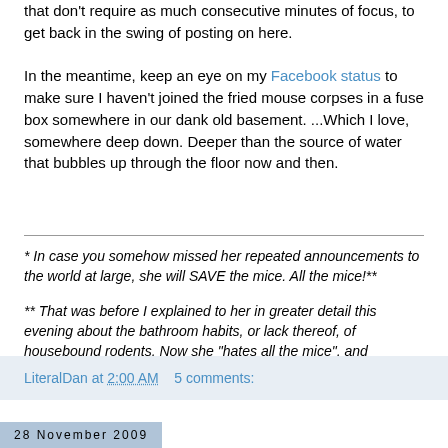that don't require as much consecutive minutes of focus, to get back in the swing of posting on here.
In the meantime, keep an eye on my Facebook status to make sure I haven't joined the fried mouse corpses in a fuse box somewhere in our dank old basement. ...Which I love, somewhere deep down. Deeper than the source of water that bubbles up through the floor now and then.
* In case you somehow missed her repeated announcements to the world at large, she will SAVE the mice. All the mice!**
** That was before I explained to her in greater detail this evening about the bathroom habits, or lack thereof, of housebound rodents. Now she "hates all the mice", and presumably thirsts for their life force.
LiteralDan at 2:00 AM    5 comments:
28 November 2009